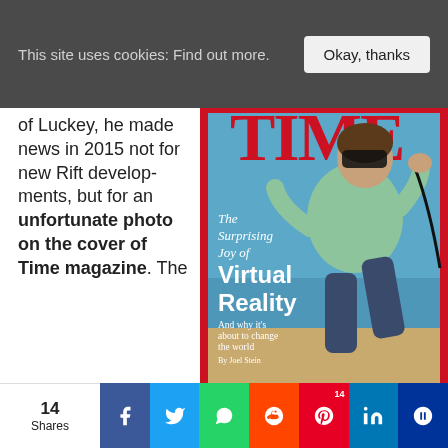This site uses cookies: Find out more.  Okay, thanks
of Luckey, he made news in 2015 not for new Rift developments, but for an unfortunate photo on the cover of Time magazine. The
[Figure (photo): TIME magazine cover showing a person wearing a VR headset running on a beach. Cover text reads: 'The Surprising Joy of Virtual Reality - And why it's about to change the world - By Joel Stein'. The TIME logo appears at the top.]
14 Shares  [Facebook] [Twitter] [WhatsApp] [Reddit] [Pinterest 14] [LinkedIn] [MeWe]